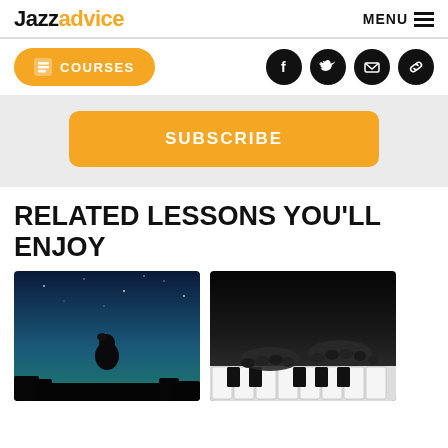Jazzadvice  MENU
COURSES
SUBSCRIBE
RELATED LESSONS YOU'LL ENJOY
[Figure (photo): Silhouette of a person against a blue starry night sky]
[Figure (photo): Black and white photo of hands playing piano keys]